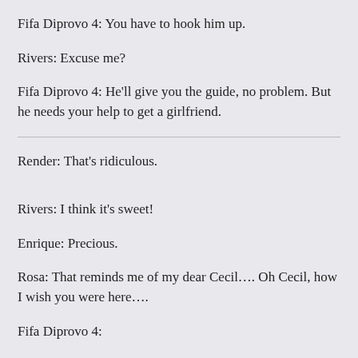Fifa Diprovo 4: You have to hook him up.
Rivers: Excuse me?
Fifa Diprovo 4: He'll give you the guide, no problem. But he needs your help to get a girlfriend.
Render: That's ridiculous.
Rivers: I think it's sweet!
Enrique: Precious.
Rosa: That reminds me of my dear Cecil…. Oh Cecil, how I wish you were here….
Fifa Diprovo 4: [text continues]